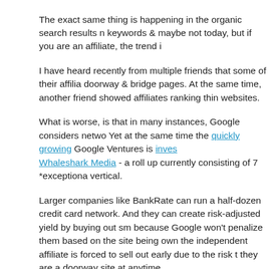The exact same thing is happening in the organic search results n keywords & maybe not today, but if you are an affiliate, the trend i
I have heard recently from multiple friends that some of their affilia doorway & bridge pages. At the same time, another friend showed affiliates ranking thin websites.
What is worse, is that in many instances, Google considers netwo Yet at the same time the quickly growing Google Ventures is inves Whaleshark Media - a roll up currently consisting of 7 *exceptiona vertical.
Larger companies like BankRate can run a half-dozen credit card network. And they can create risk-adjusted yield by buying out sm because Google won't penalize them based on the site being own the independent affiliate is forced to sell out early due to the risk t they are a doorway site at anytime.
The absurd thing is that if independent webmasters don't include n website then they don't have the capital *required* to invest in bra website. How do you compete against automated journalism wher